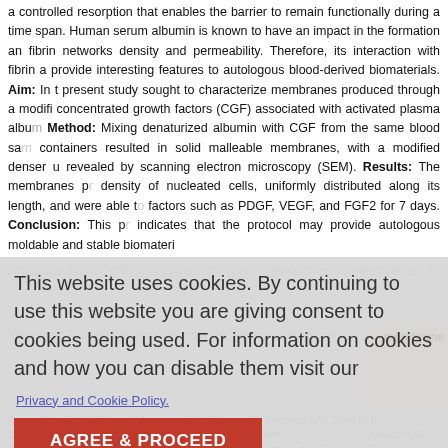a controlled resorption that enables the barrier to remain functionally during a time span. Human serum albumin is known to have an impact in the formation and fibrin networks density and permeability. Therefore, its interaction with fibrin a provide interesting features to autologous blood-derived biomaterials. Aim: In the present study sought to characterize membranes produced through a modified concentrated growth factors (CGF) associated with activated plasma albumin. Method: Mixing denaturized albumin with CGF from the same blood sample containers resulted in solid malleable membranes, with a modified denser ultrastructure revealed by scanning electron microscopy (SEM). Results: The membranes presented density of nucleated cells, uniformly distributed along its length, and were able to release factors such as PDGF, VEGF, and FGF2 for 7 days. Conclusion: This preliminary study indicates that the protocol may provide autologous moldable and stable biomaterials as a soft tissue barrier, offering the basis for further research on its effectiveness for clinical use.
Keywords: Activated plasma, albumin gel, albumin, biological membrane
[Figure (screenshot): Cookie consent overlay with message: This website uses cookies. By continuing to use this website you are giving consent to cookies being used. For information on cookies and how you can disable them visit our [Privacy and Cookie Policy.] [AGREE & PROCEED button]]
Barros Mourão CF, Gheno E, Lourenco ES, Barbosa RG, Kothman GM, Javid K, E. Benedicenti, Mourão CF, Alves GG. Characterization of heal membranes associated with denaturized Albumin (CGF) for clinical applications. A preliminary study. Int J Growth Factors Stem Cell 2019;1:64-9